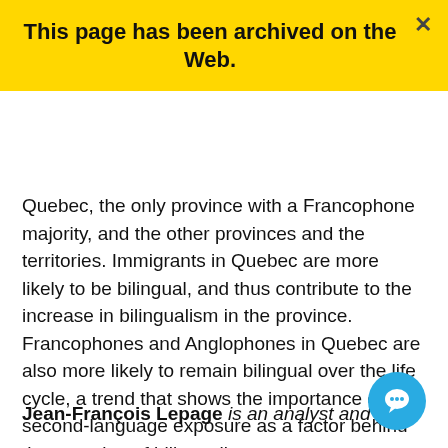This page has been archived on the Web.
Quebec, the only province with a Francophone majority, and the other provinces and the territories. Immigrants in Quebec are more likely to be bilingual, and thus contribute to the increase in bilingualism in the province. Francophones and Anglophones in Quebec are also more likely to remain bilingual over the life cycle, a trend that shows the importance of second-language exposure as a factor behind the retention of bilingualism.
Jean-François Lepage is an analyst and